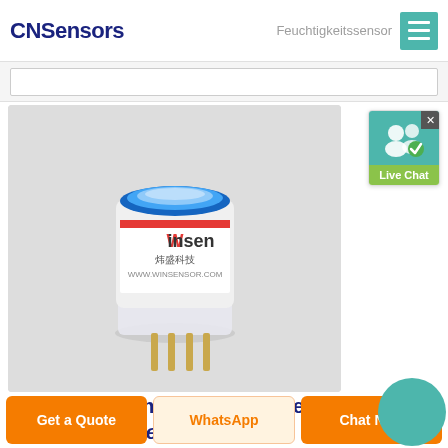CNSensors
Feuchtigkeitssensor
[Figure (photo): A Winsen brand gas/humidity sensor module in cylindrical form with blue ring on top, red and white labeling showing 'Winsen 炜盛科技 WWW.WINSENSOR.COM', clear plastic housing, and gold-colored metal pins at the bottom, photographed on a white/grey background.]
[Figure (other): Live Chat widget with teal background showing two user icons and a green checkmark badge, with green 'Live Chat' label below, and a close (X) button in the top right corner.]
Associate Members | Institute Of Infectious Disease And...
Get a Quote
WhatsApp
Chat Now